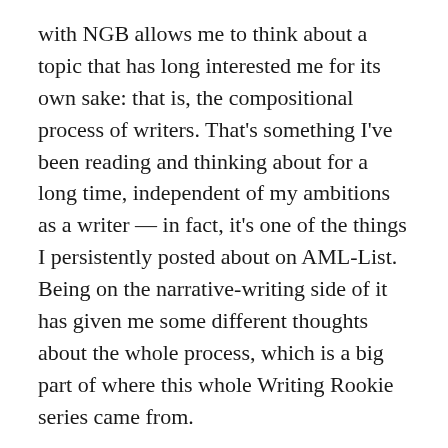with NGB allows me to think about a topic that has long interested me for its own sake: that is, the compositional process of writers. That's something I've been reading and thinking about for a long time, independent of my ambitions as a writer — in fact, it's one of the things I persistently posted about on AML-List. Being on the narrative-writing side of it has given me some different thoughts about the whole process, which is a big part of where this whole Writing Rookie series came from.
I'm still learning from the process of reflecting on my experience — though this is likely to be the last article in the series, and it's been six months since the previous one. It also doesn't